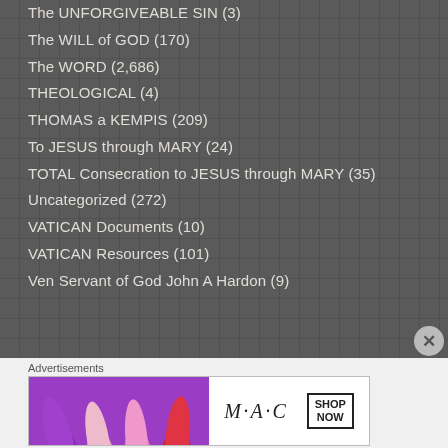The UNFORGIVEABLE SIN (3)
The WILL of GOD (170)
The WORD (2,686)
THEOLOGICAL (4)
THOMAS a KEMPIS (209)
To JESUS through MARY (24)
TOTAL Consecration to JESUS through MARY (35)
Uncategorized (272)
VATICAN Documents (10)
VATICAN Resources (101)
Ven Servant of God John A Hardon (9)
Advertisements
[Figure (photo): MAC cosmetics advertisement banner showing lipsticks in purple, pink, and red colors with MAC logo and SHOP NOW button]